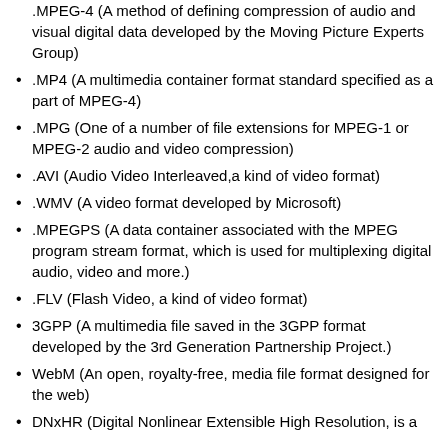.MPEG-4 (A method of defining compression of audio and visual digital data developed by the Moving Picture Experts Group)
.MP4 (A multimedia container format standard specified as a part of MPEG-4)
.MPG (One of a number of file extensions for MPEG-1 or MPEG-2 audio and video compression)
.AVI (Audio Video Interleaved,a kind of video format)
.WMV (A video format developed by Microsoft)
.MPEGPS (A data container associated with the MPEG program stream format, which is used for multiplexing digital audio, video and more.)
.FLV (Flash Video, a kind of video format)
3GPP (A multimedia file saved in the 3GPP format developed by the 3rd Generation Partnership Project.)
WebM (An open, royalty-free, media file format designed for the web)
DNxHR (Digital Nonlinear Extensible High Resolution, is a